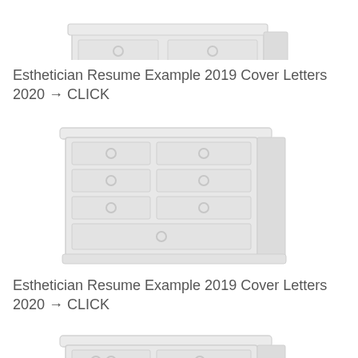[Figure (illustration): A light grey illustration of a dresser/chest of drawers, partially cropped at top]
Esthetician Resume Example 2019 Cover Letters 2020 → CLICK
[Figure (illustration): A light grey illustration of a dresser/chest of drawers with multiple drawers and round knobs]
Esthetician Resume Example 2019 Cover Letters 2020 → CLICK
[Figure (illustration): A light grey illustration of a dresser/chest of drawers, partially cropped at bottom]